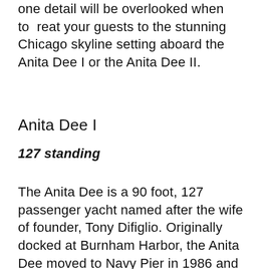one detail will be overlooked when to treat your guests to the stunning Chicago skyline setting aboard the Anita Dee I or the Anita Dee II.
Anita Dee I
127 standing
The Anita Dee is a 90 foot, 127 passenger yacht named after the wife of founder, Tony Difiglio. Originally docked at Burnham Harbor, the Anita Dee moved to Navy Pier in 1986 and later to Dusable Harbor where it has remained since 2014.  The Anita Dee